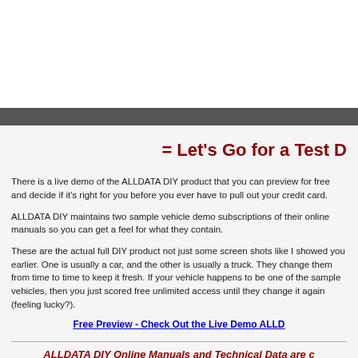= Let's Go for a Test D
There is a live demo of the ALLDATA DIY product that you can preview for free and decide if it's right for you before you ever have to pull out your credit card.
ALLDATA DIY maintains two sample vehicle demo subscriptions of their online manuals so you can get a feel for what they contain.
These are the actual full DIY product not just some screen shots like I showed you earlier. One is usually a car, and the other is usually a truck. They change them from time to time to keep it fresh. If your vehicle happens to be one of the sample vehicles, then you just scored free unlimited access until they change it again (feeling lucky?).
Free Preview - Check Out the Live Demo ALLD
ALLDATA DIY Online Manuals and Technical Data are c Model Years and Vehic